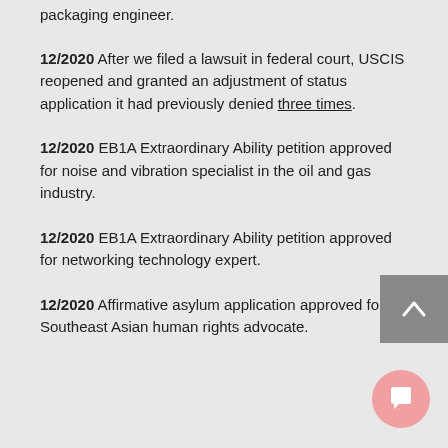packaging engineer.
12/2020 After we filed a lawsuit in federal court, USCIS reopened and granted an adjustment of status application it had previously denied three times.
12/2020 EB1A Extraordinary Ability petition approved for noise and vibration specialist in the oil and gas industry.
12/2020 EB1A Extraordinary Ability petition approved for networking technology expert.
12/2020 Affirmative asylum application approved for Southeast Asian human rights advocate.